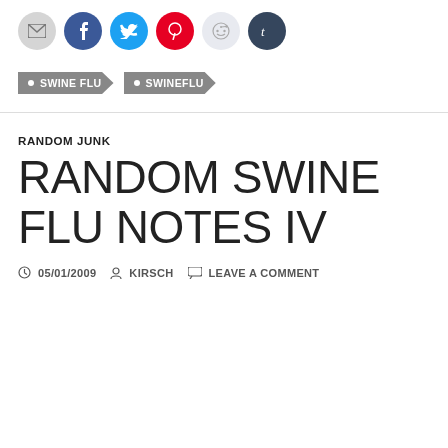[Figure (other): Row of social sharing icon buttons: email (grey), Facebook (blue), Twitter (light blue), Pinterest (red), Reddit (light grey), Tumblr (dark blue)]
SWINE FLU
SWINEFLU
RANDOM JUNK
RANDOM SWINE FLU NOTES IV
05/01/2009   KIRSCH   LEAVE A COMMENT